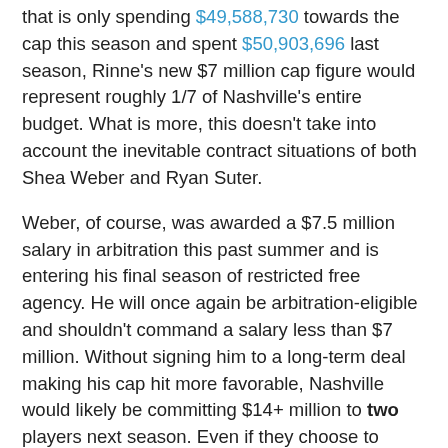that is only spending $49,588,730 towards the cap this season and spent $50,903,696 last season, Rinne's new $7 million cap figure would represent roughly 1/7 of Nashville's entire budget. What is more, this doesn't take into account the inevitable contract situations of both Shea Weber and Ryan Suter.
Weber, of course, was awarded a $7.5 million salary in arbitration this past summer and is entering his final season of restricted free agency. He will once again be arbitration-eligible and shouldn't command a salary less than $7 million. Without signing him to a long-term deal making his cap hit more favorable, Nashville would likely be committing $14+ million to two players next season. Even if they choose to extend Weber long-term, I don't see him taking much less than his current salary, further guaranteeing an emerging cap constraint.
Suter's situation is equally sticky. He is set to become an unrestricted free agent next summer, the clear prize of the defensive UFA class. Considering there hasn't been a defenseman of Suter's caliber on the open market in quite